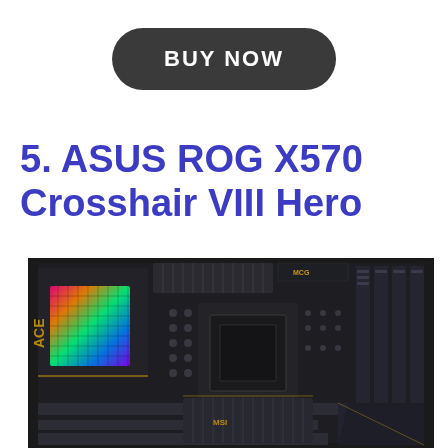BUY NOW
5. ASUS ROG X570 Crosshair VIII Hero
[Figure (photo): ASUS ROG X570 Crosshair VIII Hero motherboard product photo showing RGB lighting on the I/O cover, CPU socket area, RAM slots, and VRM heatsinks on a dark PCB]